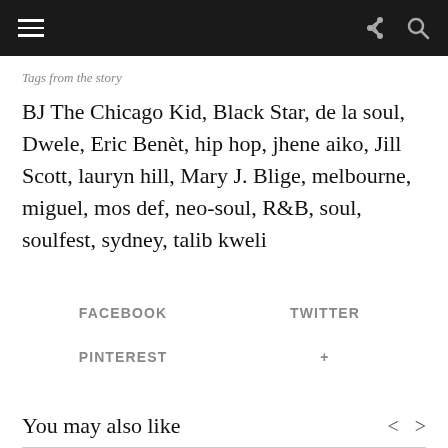≡  ↪ 🔍
Tags from the story
BJ The Chicago Kid, Black Star, de la soul, Dwele, Eric Benèt, hip hop, jhene aiko, Jill Scott, lauryn hill, Mary J. Blige, melbourne, miguel, mos def, neo-soul, R&B, soul, soulfest, sydney, talib kweli
FACEBOOK   TWITTER   PINTEREST   +
You may also like